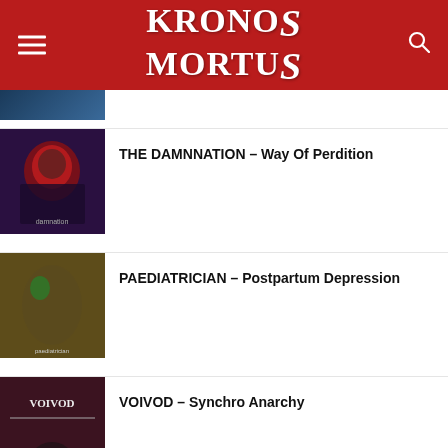KRONOS MORTUS
[Figure (photo): Partial album cover at top, cut off]
THE DAMNNATION – Way Of Perdition
[Figure (photo): The Damnnation – Way Of Perdition album cover, dark skull with red tones]
PAEDIATRICIAN – Postpartum Depression
[Figure (photo): Paediatrician – Postpartum Depression album cover, earthy tones]
VOIVOD – Synchro Anarchy
[Figure (photo): Voivod – Synchro Anarchy album cover, dark tones with logo]
A továbblépéshez fogadja el a sütik használatát. Részletek ELFOGADOM